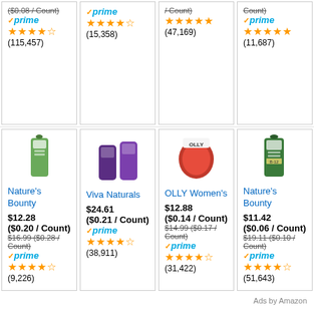[Figure (screenshot): Amazon product listing grid showing supplement products with prices, ratings, and Prime badges. Top row (partial): 4 products with ratings 115,457 / 15,358 / 47,169 / 11,687. Bottom row: Nature's Bounty $12.28, Viva Naturals $24.61, OLLY Women's $12.88, Nature's Bounty $11.42]
Ads by Amazon